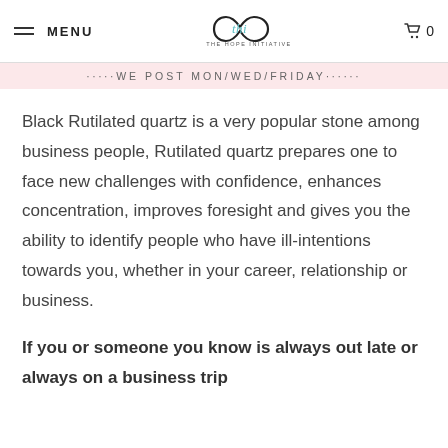MENU | THE HOPE INITIATIVE | 0
******WE POST MON/WED/FRIDAY******
Black Rutilated quartz is a very popular stone among business people, Rutilated quartz prepares one to face new challenges with confidence, enhances concentration, improves foresight and gives you the ability to identify people who have ill-intentions towards you, whether in your career, relationship or business.
If you or someone you know is always out late or always on a business trip